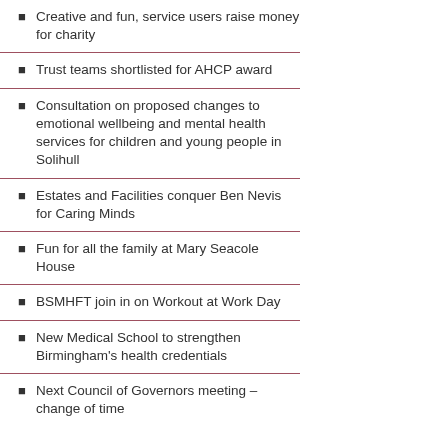Creative and fun, service users raise money for charity
Trust teams shortlisted for AHCP award
Consultation on proposed changes to emotional wellbeing and mental health services for children and young people in Solihull
Estates and Facilities conquer Ben Nevis for Caring Minds
Fun for all the family at Mary Seacole House
BSMHFT join in on Workout at Work Day
New Medical School to strengthen Birmingham's health credentials
Next Council of Governors meeting – change of time